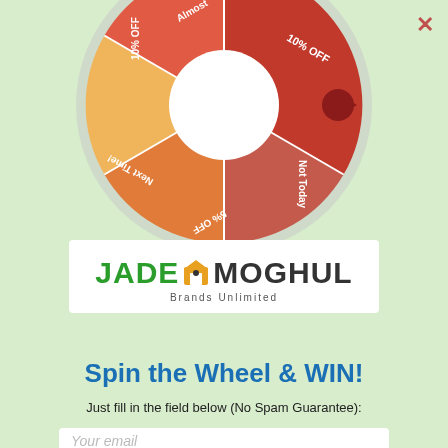[Figure (illustration): Spin the wheel of fortune graphic showing a colorful prize wheel with segments labeled: Almost, 10% OFF, Not Today, 5% OFF, Next Time!, 10% OFF. The wheel is partially visible at the top, with a red pointer/arrow on the right side.]
[Figure (logo): Jade Moghul Brands Unlimited logo — green JADE text, black MOGHUL text with a yellow-orange diamond/house icon between them, and 'Brands Unlimited' tagline below.]
Spin the Wheel & WIN!
Just fill in the field below (No Spam Guarantee):
Your email